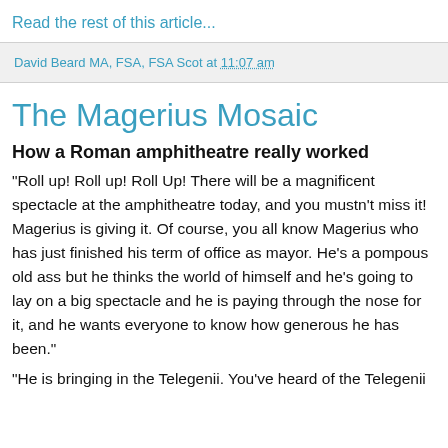Read the rest of this article...
David Beard MA, FSA, FSA Scot at 11:07 am
The Magerius Mosaic
How a Roman amphitheatre really worked
"Roll up! Roll up! Roll Up! There will be a magnificent spectacle at the amphitheatre today, and you mustn't miss it! Magerius is giving it. Of course, you all know Magerius who has just finished his term of office as mayor. He's a pompous old ass but he thinks the world of himself and he's going to lay on a big spectacle and he is paying through the nose for it, and he wants everyone to know how generous he has been."
"He is bringing in the Telegenii. You've heard of the Telegenii